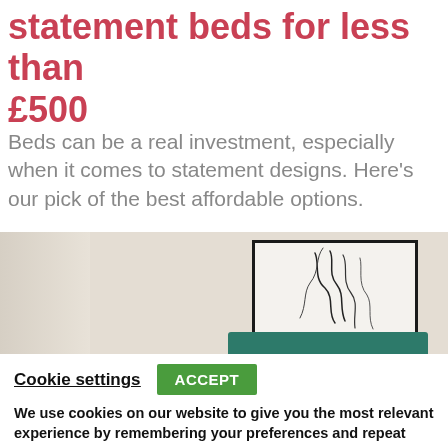statement beds for less than £500
Beds can be a real investment, especially when it comes to statement designs. Here's our pick of the best affordable options.
[Figure (photo): Bedroom scene showing a beige/neutral wall with a framed black-and-white line art print, light curtain on the left, and a teal/green tufted headboard visible at the bottom.]
Cookie settings  ACCEPT
We use cookies on our website to give you the most relevant experience by remembering your preferences and repeat visits. By clicking “Accept”, you consent to the use of ALL the cookies.